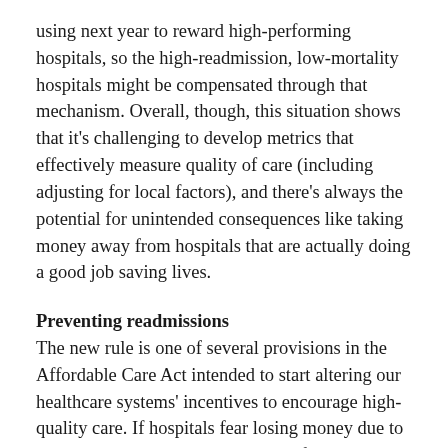using next year to reward high-performing hospitals, so the high-readmission, low-mortality hospitals might be compensated through that mechanism. Overall, though, this situation shows that it's challenging to develop metrics that effectively measure quality of care (including adjusting for local factors), and there's always the potential for unintended consequences like taking money away from hospitals that are actually doing a good job saving lives.
Preventing readmissions
The new rule is one of several provisions in the Affordable Care Act intended to start altering our healthcare systems' incentives to encourage high-quality care. If hospitals fear losing money due to high readmission rates, they have a financial justification to invest in things that can reduce readmissions. And it turns out that researchers are developing promising approaches to bringing down readmission rates.